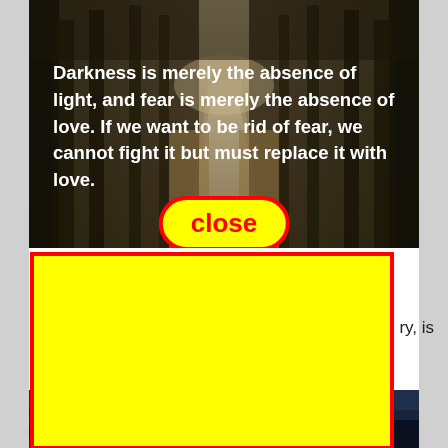[Figure (photo): Dark forest road photograph with trees on both sides converging to a vanishing point, with overlaid white bold quote text and a yellow 'close' button with red border]
Darkness is merely the absence of light, and fear is merely the absence of love. If we want to be rid of fear, we cannot fight it but must replace it with love.
close
Sour
Only                                                           ry, is a be
[Figure (photo): Dark nighttime or twilight outdoor scene partially visible at the bottom of the page, mostly obscured by yellow rectangle]
[Figure (other): Large yellow rectangle with red border overlay covering central portion of the page]